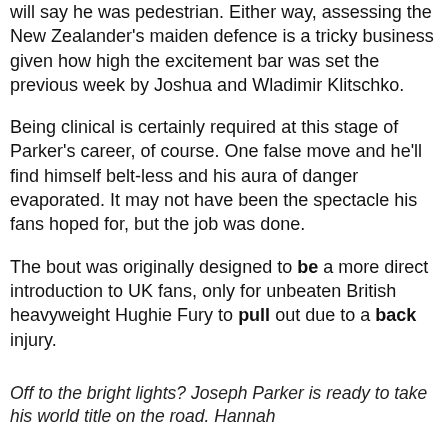will say he was pedestrian. Either way, assessing the New Zealander's maiden defence is a tricky business given how high the excitement bar was set the previous week by Joshua and Wladimir Klitschko.
Being clinical is certainly required at this stage of Parker's career, of course. One false move and he'll find himself belt-less and his aura of danger evaporated. It may not have been the spectacle his fans hoped for, but the job was done.
The bout was originally designed to be a more direct introduction to UK fans, only for unbeaten British heavyweight Hughie Fury to pull out due to a back injury.
Off to the bright lights? Joseph Parker is ready to take his world title on the road. Hannah